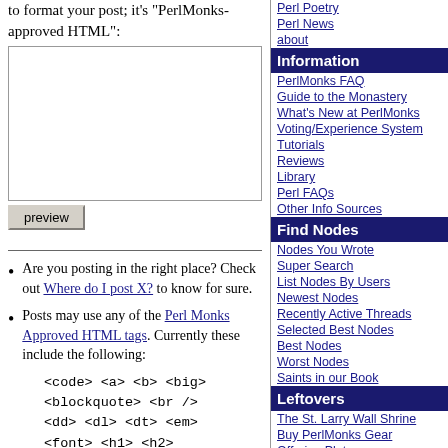to format your post; it's "PerlMonks-approved HTML":
[Figure (other): Textarea input box for post content]
preview (button)
Are you posting in the right place? Check out Where do I post X? to know for sure.
Posts may use any of the Perl Monks Approved HTML tags. Currently these include the following:
<code> <a> <b> <big> <blockquote> <br /> <dd> <dl> <dt> <em> <font> <h1> <h2>
Information
PerlMonks FAQ
Guide to the Monastery
What's New at PerlMonks
Voting/Experience System
Tutorials
Reviews
Library
Perl FAQs
Other Info Sources
Find Nodes
Nodes You Wrote
Super Search
List Nodes By Users
Newest Nodes
Recently Active Threads
Selected Best Nodes
Best Nodes
Worst Nodes
Saints in our Book
Leftovers
The St. Larry Wall Shrine
Buy PerlMonks Gear
Offering Plate
Awards
Perl Poetry
Perl News
about